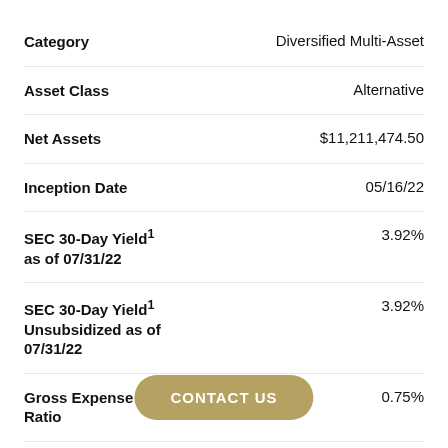| Category | Value |
| --- | --- |
| Category | Diversified Multi-Asset |
| Asset Class | Alternative |
| Net Assets | $11,211,474.50 |
| Inception Date | 05/16/22 |
| SEC 30-Day Yield1 as of 07/31/22 | 3.92% |
| SEC 30-Day Yield1 Unsubsidized as of 07/31/22 | 3.92% |
| Gross Expense Ratio | 0.75% |
| Net Expense Ratio | - |
| NAV | $24.91 |
CONTACT US